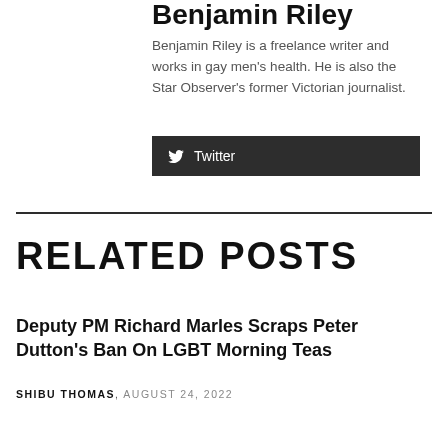Benjamin Riley
Benjamin Riley is a freelance writer and works in gay men's health. He is also the Star Observer's former Victorian journalist.
Twitter
RELATED POSTS
Deputy PM Richard Marles Scraps Peter Dutton's Ban On LGBT Morning Teas
SHIBU THOMAS, AUGUST 24, 2022